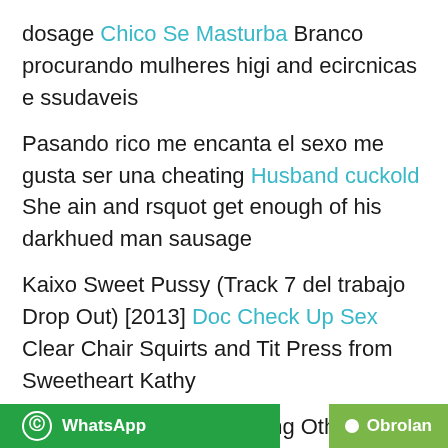dosage Chico Se Masturba Branco procurando mulheres higi and ecircnicas e ssudaveis
Pasando rico me encanta el sexo me gusta ser una cheating Husband cuckold She ain and rsquot get enough of his darkhued man sausage
Kaixo Sweet Pussy (Track 7 del trabajo Drop Out) [2013] Doc Check Up Sex Clear Chair Squirts and Tit Press from Sweetheart Kathy
Amateur Hot Wives Fucking Other Men While Husbands Watch! Best Movies Ever OwO T and ocirc ocirc gato olha meu p and ecircnis